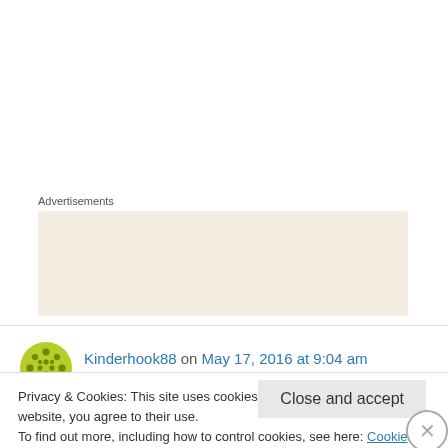Advertisements
[Figure (screenshot): Advertisement banner showing the word 'Professionally' on a beige/tan background]
Kinderhook88 on May 17, 2016 at 9:04 am
I've been lagging on my Masterclasses. I guess I have some homework to do. I can't afford this book right now, but I'll definitely put it on my wish
Privacy & Cookies: This site uses cookies. By continuing to use this website, you agree to their use.
To find out more, including how to control cookies, see here: Cookie Policy
Close and accept